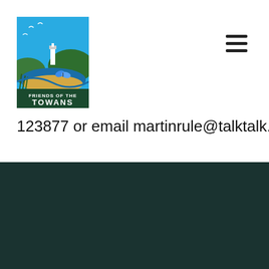[Figure (logo): Friends of the Towans logo — illustrated scene with lighthouse, sea, dunes, birds and butterfly, with text FRIENDS OF THE TOWANS]
123877 or email martinrule@talktalk.net.
[Figure (logo): Friends of the Towans logo (larger version) in footer area]
CONTACT
If you'd like to get involved, please